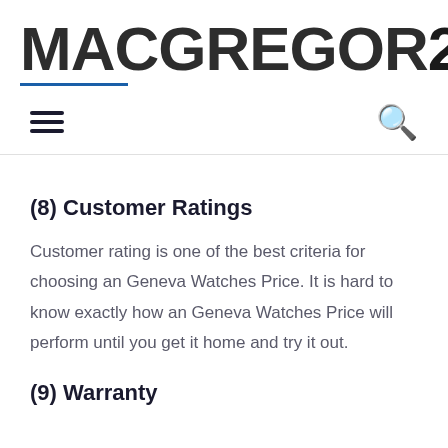MACGREGOR26
(8) Customer Ratings
Customer rating is one of the best criteria for choosing an Geneva Watches Price. It is hard to know exactly how an Geneva Watches Price will perform until you get it home and try it out.
(9) Warranty